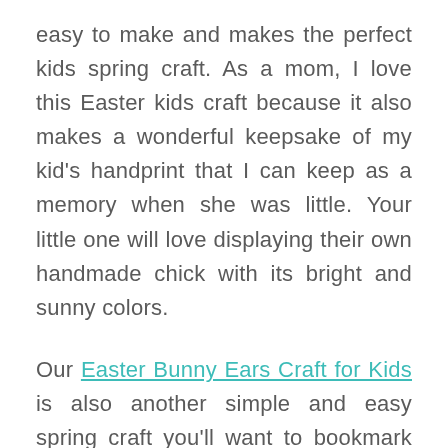easy to make and makes the perfect kids spring craft. As a mom, I love this Easter kids craft because it also makes a wonderful keepsake of my kid's handprint that I can keep as a memory when she was little. Your little one will love displaying their own handmade chick with its bright and sunny colors.
Our Easter Bunny Ears Craft for Kids is also another simple and easy spring craft you'll want to bookmark right now to make later. We love crafts that